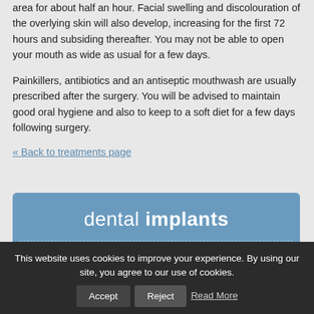area for about half an hour. Facial swelling and discolouration of the overlying skin will also develop, increasing for the first 72 hours and subsiding thereafter. You may not be able to open your mouth as wide as usual for a few days.
Painkillers, antibiotics and an antiseptic mouthwash are usually prescribed after the surgery. You will be advised to maintain good oral hygiene and also to keep to a soft diet for a few days following surgery.
« Back to treatments page
[Figure (infographic): Blue rounded box with title 'dental implants' and a dashed divider line below, followed by partially visible subtitle text]
This website uses cookies to improve your experience. By using our site, you agree to our use of cookies. Accept Reject Read More